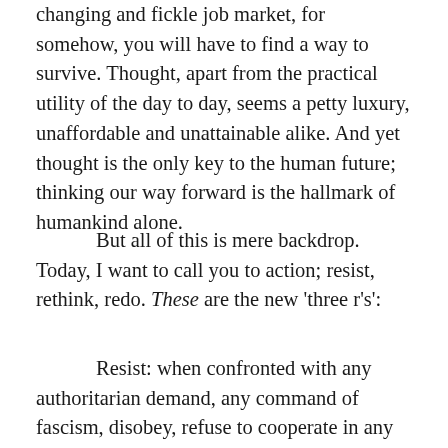changing and fickle job market, for somehow, you will have to find a way to survive. Thought, apart from the practical utility of the day to day, seems a petty luxury, unaffordable and unattainable alike. And yet thought is the only key to the human future; thinking our way forward is the hallmark of humankind alone.
But all of this is mere backdrop. Today, I want to call you to action; resist, rethink, redo. These are the new 'three r's':
Resist: when confronted with any authoritarian demand, any command of fascism, disobey, refuse to cooperate in any way and at any time. Examples are physical and sexual abuse, 'punishment' or 'discipline':